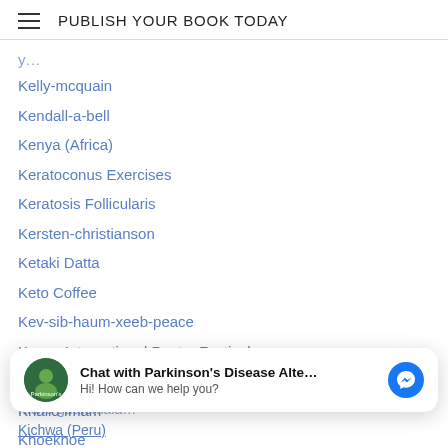PUBLISH YOUR BOOK TODAY
Kelly-mcquain
Kendall-a-bell
Kenya (Africa)
Keratoconus Exercises
Keratosis Follicularis
Kersten-christianson
Ketaki Datta
Keto Coffee
Kev-sib-haum-xeeb-peace
Keyan International Poetry Festival
K.G. Balakrishnan
Khalid Imam
Khoekhoe
Chat with Parkinson's Disease Alte... Hi! How can we help you?
Kichwa (Peru)